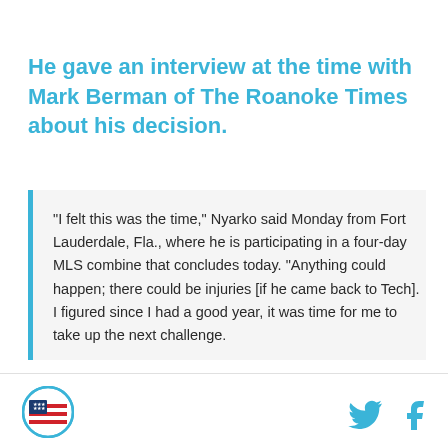He gave an interview at the time with Mark Berman of The Roanoke Times about his decision.
"I felt this was the time," Nyarko said Monday from Fort Lauderdale, Fla., where he is participating in a four-day MLS combine that concludes today. "Anything could happen; there could be injuries [if he came back to Tech]. I figured since I had a good year, it was time for me to take up the next challenge.

"It was a hard decision, leaving Tech and my teammates. ... I'm really excited about a new
[Figure (logo): Circular logo with blue border, stars and stripes pattern inside]
[Figure (logo): Twitter bird icon in blue]
[Figure (logo): Facebook f icon in blue]